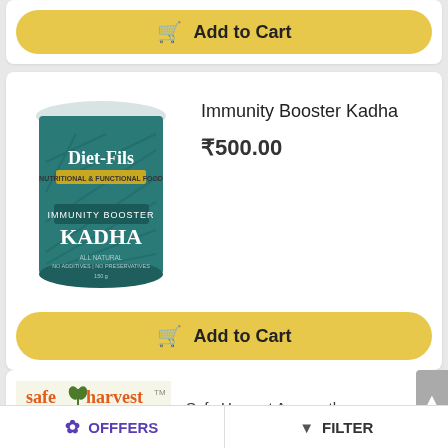[Figure (other): Add to Cart button with shopping cart icon on yellow/gold rounded button]
[Figure (photo): Diet-Fils Immunity Booster Kadha product tin can with teal label]
Immunity Booster Kadha
₹500.00
[Figure (other): Add to Cart button with shopping cart icon on yellow/gold rounded button]
[Figure (photo): Safe Harvest brand logo with tagline 'pesticida free natural food']
Safe Harvest Amaranth
OFFFERS   FILTER